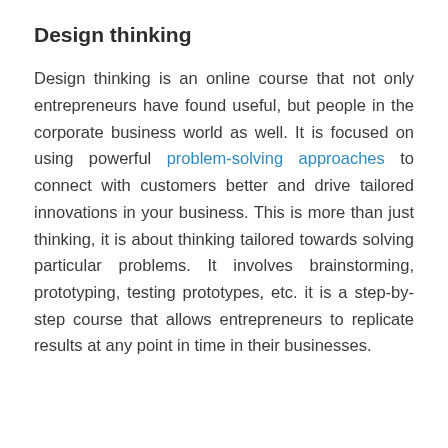Design thinking
Design thinking is an online course that not only entrepreneurs have found useful, but people in the corporate business world as well. It is focused on using powerful problem-solving approaches to connect with customers better and drive tailored innovations in your business. This is more than just thinking, it is about thinking tailored towards solving particular problems. It involves brainstorming, prototyping, testing prototypes, etc. it is a step-by-step course that allows entrepreneurs to replicate results at any point in time in their businesses.